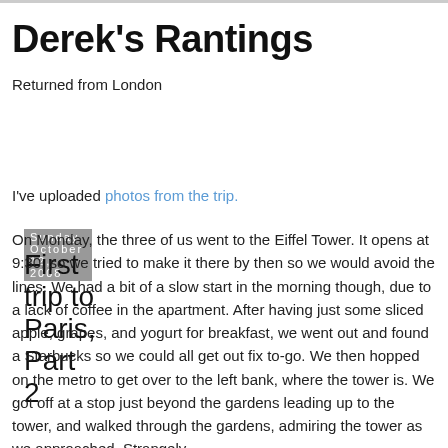Derek's Rantings
Returned from London
Sunday, October 12, 2008
First trip to Paris, Part 2
I've uploaded photos from the trip.
On Monday, the three of us went to the Eiffel Tower. It opens at 9:30, so we tried to make it there by then so we would avoid the lines. We had a bit of a slow start in the morning though, due to a lack of coffee in the apartment. After having just some sliced apple, grapes, and yogurt for breakfast, we went out and found a Starbucks so we could all get out fix to-go. We then hopped on the metro to get over to the left bank, where the tower is. We got off at a stop just beyond the gardens leading up to the tower, and walked through the gardens, admiring the tower as we approached. Strangely,